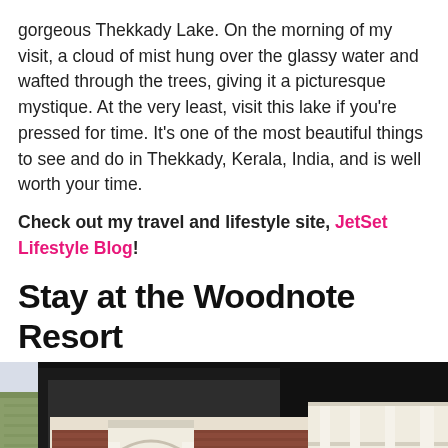gorgeous Thekkady Lake. On the morning of my visit, a cloud of mist hung over the glassy water and wafted through the trees, giving it a picturesque mystique. At the very least, visit this lake if you're pressed for time. It's one of the most beautiful things to see and do in Thekkady, Kerala, India, and is well worth your time.
Check out my travel and lifestyle site, JetSet Lifestyle Blog!
Stay at the Woodnote Resort
[Figure (photo): Low-angle photo of the Woodnote Resort building exterior, showing colonial-style white and brick facade with ornate archway entrance, black roof overhang, and multi-story structure. The Woodnote logo/sign is visible on the front.]